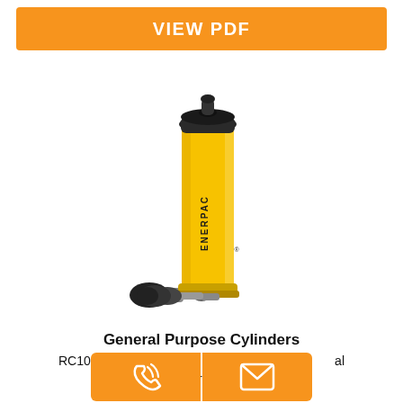VIEW PDF
[Figure (photo): Enerpac RC1014 yellow hydraulic cylinder with black cap on top and hydraulic fitting at the base, shown on white background. Tall cylindrical body with ENERPAC branding.]
General Purpose Cylinders
RC1014, 101 kN Capacity, Single-Acting General Purpose Hydraulic Cylinder